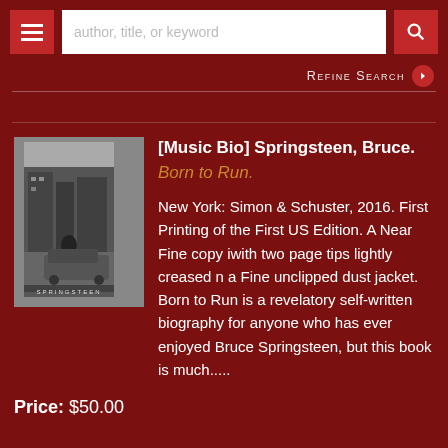author, title, or keyword
Refine Search
[Figure (photo): Black and white photo of book cover for 'Born to Run' by Bruce Springsteen]
[Music Bio] Springsteen, Bruce. Born to Run. New York: Simon & Schuster, 2016. First Printing of the First US Edition. A Near Fine copy iwith two page tips lightly creased n a Fine unclipped dust jacket. Born to Run is a revelatory self-written biography for anyone who has ever enjoyed Bruce Springsteen, but this book is much.....
Price: $50.00